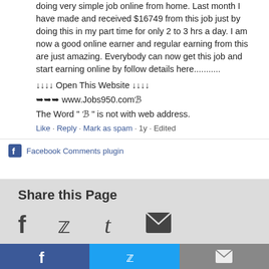doing very simple job online from home. Last month I have made and received $16749 from this job just by doing this in my part time for only 2 to 3 hrs a day. I am now a good online earner and regular earning from this are just amazing. Everybody can now get this job and start earning online by follow details here...........
↓↓↓↓ Open This Website ↓↓↓↓
➽➽➽ www.Jobs950.comB
The Word " B " is not with web address.
Like · Reply · Mark as spam · 1y · Edited
Facebook Comments plugin
Share this Page
[Figure (infographic): Share icons: Facebook, Twitter, Tumblr, Email]
[Figure (infographic): Footer bar with Facebook, Twitter, Email icons]